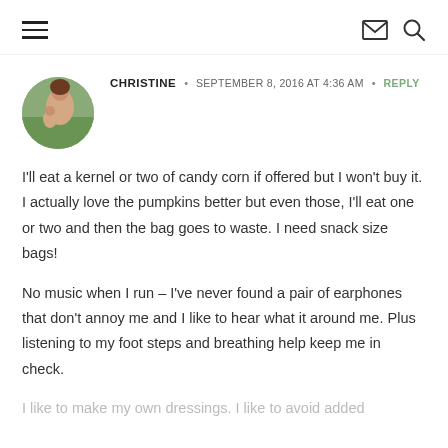Navigation header with hamburger menu, envelope icon, and search icon
[Figure (photo): Circular avatar photo of a woman holding a child outdoors]
CHRISTINE • SEPTEMBER 8, 2016 AT 4:36 AM • REPLY
I'll eat a kernel or two of candy corn if offered but I won't buy it. I actually love the pumpkins better but even those, I'll eat one or two and then the bag goes to waste. I need snack size bags!

No music when I run – I've never found a pair of earphones that don't annoy me and I like to hear what it around me. Plus listening to my foot steps and breathing help keep me in check.

I like to make my own dressings. I like to avoid added